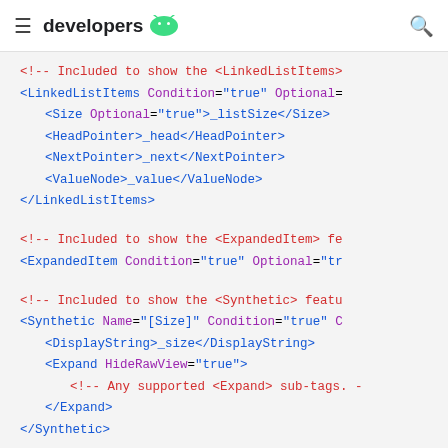developers [android logo]
<!-- Included to show the <LinkedListItems> ...
<LinkedListItems Condition="true" Optional=...
    <Size Optional="true">_listSize</Size>
    <HeadPointer>_head</HeadPointer>
    <NextPointer>_next</NextPointer>
    <ValueNode>_value</ValueNode>
</LinkedListItems>

<!-- Included to show the <ExpandedItem> fe...
<ExpandedItem Condition="true" Optional="tr...

<!-- Included to show the <Synthetic> featu...
<Synthetic Name="[Size]" Condition="true" C...
    <DisplayString>_size</DisplayString>
    <Expand HideRawView="true">
        <!-- Any supported <Expand> sub-tags. -...
    </Expand>
</Synthetic>

<!-- Included to show the <TreeItems> featu...
<TreeItems Condition="true" Optional=...